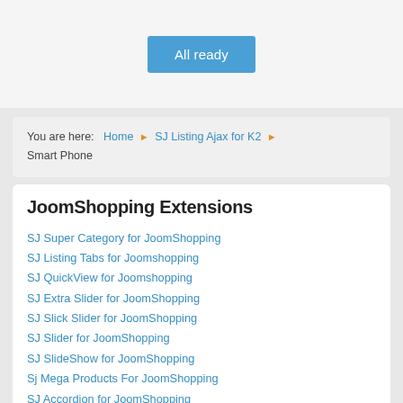[Figure (other): Blue 'All ready' button centered on light gray background]
You are here: Home ▶ SJ Listing Ajax for K2 ▶ Smart Phone
JoomShopping Extensions
SJ Super Category for JoomShopping
SJ Listing Tabs for Joomshopping
SJ QuickView for Joomshopping
SJ Extra Slider for JoomShopping
SJ Slick Slider for JoomShopping
SJ Slider for JoomShopping
SJ SlideShow for JoomShopping
Sj Mega Products For JoomShopping
SJ Accordion for JoomShopping
SJ Slideshow II for JoomShopping
SJ Frontpage for JoomShopping
SJ Mega Products for JoomShopping